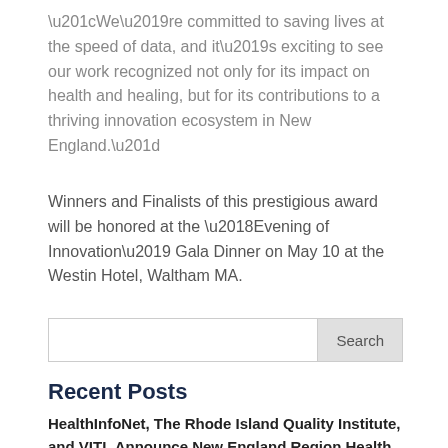“We’re committed to saving lives at the speed of data, and it’s exciting to see our work recognized not only for its impact on health and healing, but for its contributions to a thriving innovation ecosystem in New England.”
Winners and Finalists of this prestigious award will be honored at the ‘Evening of Innovation’ Gala Dinner on May 10 at the Westin Hotel, Waltham MA.
Search
Recent Posts
HealthInfoNet, The Rhode Island Quality Institute, and VITL Announce New England Region Health Information Exchange (HIE) Collaboration